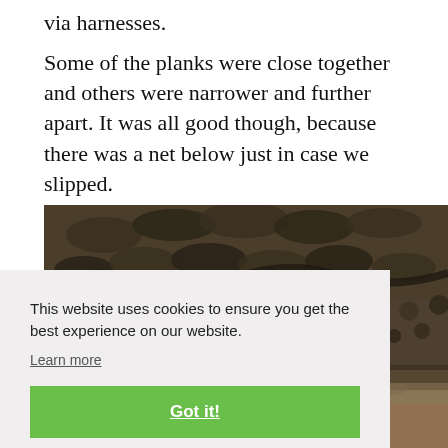via harnesses.
Some of the planks were close together and others were narrower and further apart. It was all good though, because there was a net below just in case we slipped.
[Figure (photo): Close-up photograph of a crocodile or alligator's scaly textured skin/back, dark and rough, with sandy ground visible at the bottom.]
This website uses cookies to ensure you get the best experience on our website.
Learn more
Got it!